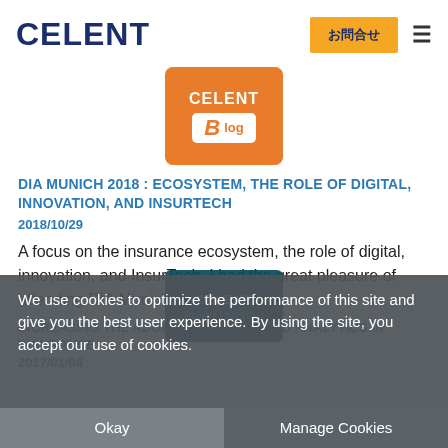CELENT | お問合せ
[Figure (logo): Celent Blog orange badge logo with 'CELENT' text and 'Blog' label]
DIA MUNICH 2018 : ECOSYSTEM, THE ROLE OF DIGITAL, INNOVATION, AND INSURTECH
2018/10/29
A focus on the insurance ecosystem, the role of digital, innovation, and InsurTech. I had the great pleasure of attending DIA Munich 2018 . As a...
We use cookies to optimize the performance of this site and give you the best user experience. By using the site, you accept our use of cookies.
INCREASING THE ADOPTION OF DATA AND ANALYTICS IN INSURANCE
2017/01/04